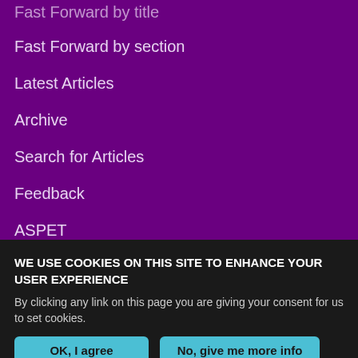Fast Forward by title
Fast Forward by section
Latest Articles
Archive
Search for Articles
Feedback
ASPET
More Information
About DMD
Editorial Board
Instructions to Authors
WE USE COOKIES ON THIS SITE TO ENHANCE YOUR USER EXPERIENCE
By clicking any link on this page you are giving your consent for us to set cookies.
OK, I agree
No, give me more info